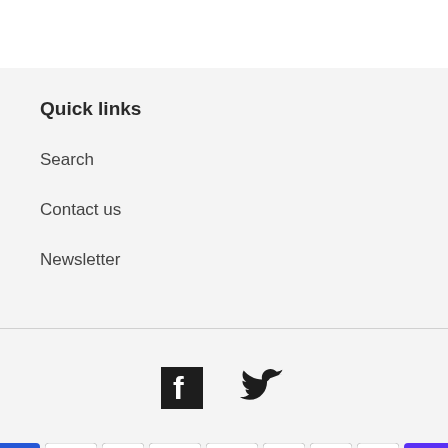Quick links
Search
Contact us
Newsletter
[Figure (infographic): Social media icons: Facebook and Twitter]
[Figure (infographic): Payment method icons: American Express, Apple Pay, Diners Club, Discover, Google Pay, Maestro, Mastercard, PayPal, Shop Pay]